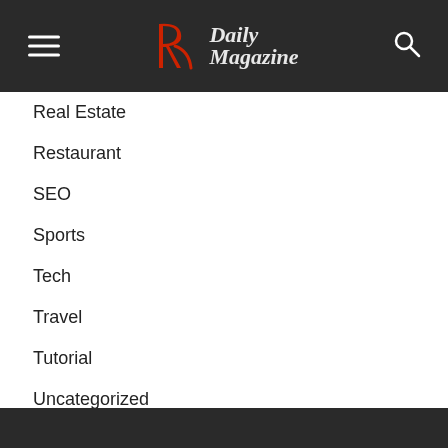R Daily Magazine
Real Estate
Restaurant
SEO
Sports
Tech
Travel
Tutorial
Uncategorized
Wedding